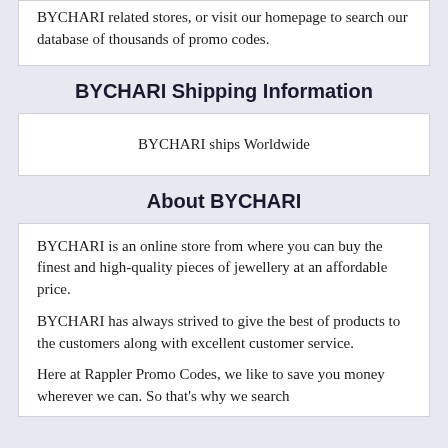BYCHARI related stores, or visit our homepage to search our database of thousands of promo codes.
BYCHARI Shipping Information
BYCHARI ships Worldwide
About BYCHARI
BYCHARI is an online store from where you can buy the finest and high-quality pieces of jewellery at an affordable price.
BYCHARI has always strived to give the best of products to the customers along with excellent customer service.
Here at Rappler Promo Codes, we like to save you money wherever we can. So that's why we search